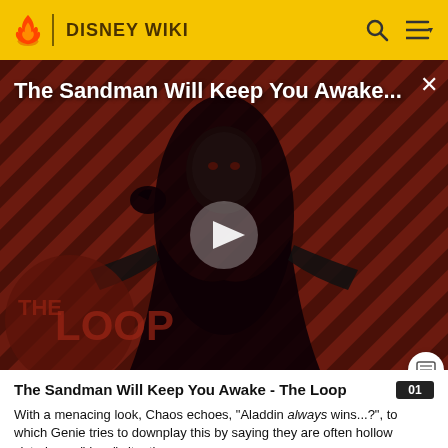DISNEY WIKI
[Figure (screenshot): Video thumbnail showing a figure in black robes against a dark red diagonal stripe background with 'THE LOOP' logo overlay and a play button in the center. Title reads 'The Sandman Will Keep You Awake...']
The Sandman Will Keep You Awake - The Loop
With a menacing look, Chaos echoes, "Aladdin always wins...?", to which Genie tries to downplay this by saying they are often hollow victories or "draw" situations.